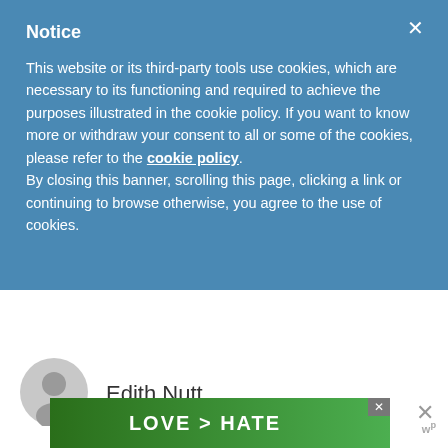Notice
This website or its third-party tools use cookies, which are necessary to its functioning and required to achieve the purposes illustrated in the cookie policy. If you want to know more or withdraw your consent to all or some of the cookies, please refer to the cookie policy. By closing this banner, scrolling this page, clicking a link or continuing to browse otherwise, you agree to the use of cookies.
[Figure (illustration): Gray circular user avatar icon with a person silhouette]
Edith Nutt
[Figure (photo): Advertisement banner showing hands forming a heart shape with text LOVE > HATE on a green background]